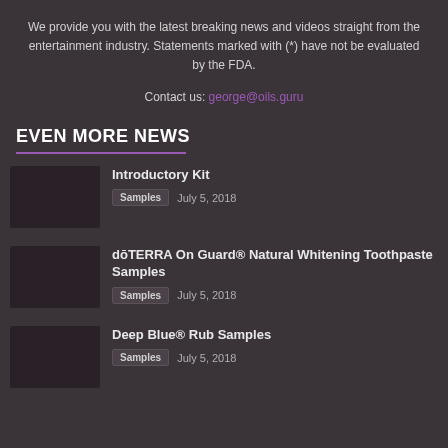We provide you with the latest breaking news and videos straight from the entertainment industry. Statements marked with (*) have not be evaluated by the FDA.
Contact us: george@oils.guru
EVEN MORE NEWS
Introductory Kit
Samples   July 5, 2018
dōTERRA On Guard® Natural Whitening Toothpaste Samples
Samples   July 5, 2018
Deep Blue® Rub Samples
Samples   July 5, 2018